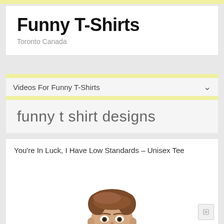Funny T-Shirts
Toronto Canada
Videos For Funny T-Shirts
funny t shirt designs
You're In Luck, I Have Low Standards – Unisex Tee
[Figure (photo): Man smiling, wearing a black t-shirt, shown from shoulders up, white background]